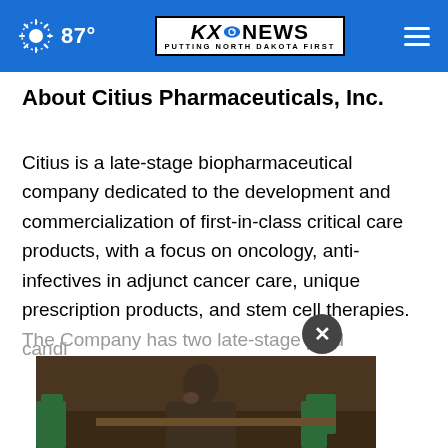87° | KXO NEWS PUTTING NORTH DAKOTA FIRST
About Citius Pharmaceuticals, Inc.
Citius is a late-stage biopharmaceutical company dedicated to the development and commercialization of first-in-class critical care products, with a focus on oncology, anti-infectives in adjunct cancer care, unique prescription products, and stem cell therapies. The Company has two late-stage product candidates for the treatment of critically ill
[Figure (screenshot): Video thumbnail showing a person seated at a table with green chairs, partially obscured by a close/X button overlay]